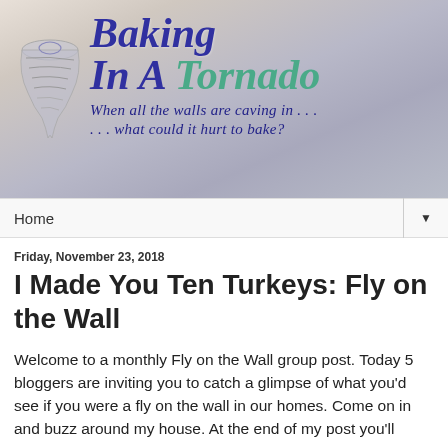[Figure (logo): Baking In A Tornado blog banner with tornado icon and title text on a muted sky background]
Home ▼
Friday, November 23, 2018
I Made You Ten Turkeys: Fly on the Wall
Welcome to a monthly Fly on the Wall group post. Today 5 bloggers are inviting you to catch a glimpse of what you'd see if you were a fly on the wall in our homes. Come on in and buzz around my house. At the end of my post you'll